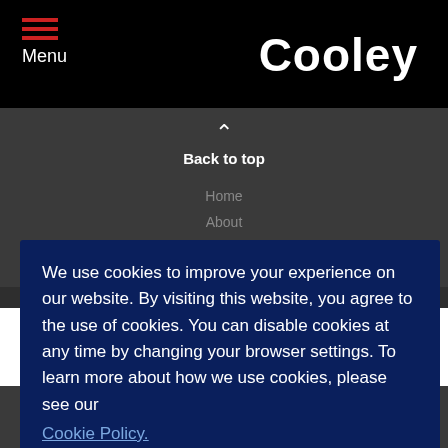Menu | Cooley
Back to top
We use cookies to improve your experience on our website. By visiting this website, you agree to the use of cookies. You can disable cookies at any time by changing your browser settings. To learn more about how we use cookies, please see our Cookie Policy.
Dismiss
Home
About
Practices & Industries
Events
Alumni